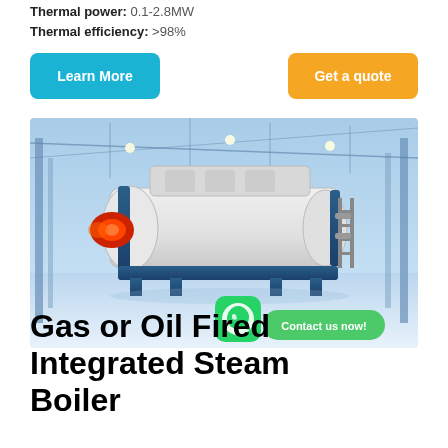Thermal power: 0.1-2.8MW
Thermal efficiency: >98%
Learn More
Get a quote
[Figure (photo): Industrial gas or oil fired integrated steam boiler in a large blue-toned factory/warehouse setting. The boiler is white and navy blue, cylindrical shape with a red burner at the front. A WhatsApp icon and 'Contact us now!' bubble are overlaid at the bottom right of the image.]
Gas or Oil Fired Integrated Steam Boiler